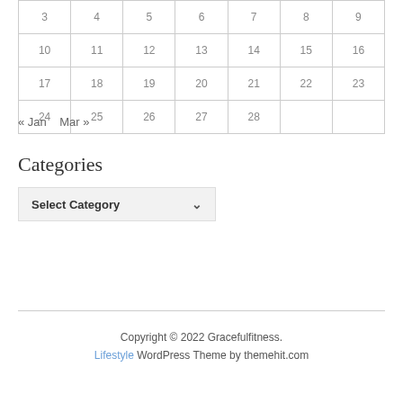| 3 | 4 | 5 | 6 | 7 | 8 | 9 |
| 10 | 11 | 12 | 13 | 14 | 15 | 16 |
| 17 | 18 | 19 | 20 | 21 | 22 | 23 |
| 24 | 25 | 26 | 27 | 28 |  |  |
« Jan   Mar »
Categories
Select Category ▾
Copyright © 2022 Gracefulfitness. Lifestyle WordPress Theme by themehit.com